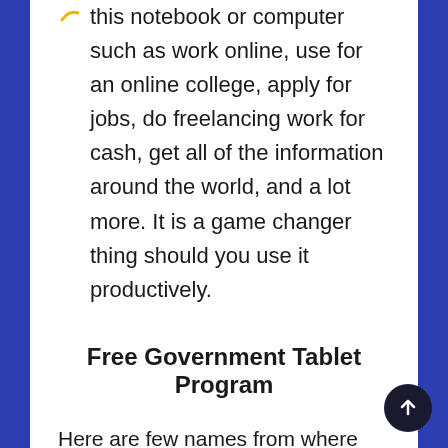this notebook or computer such as work online, use for an online college, apply for jobs, do freelancing work for cash, get all of the information around the world, and a lot more. It is a game changer thing should you use it productively.
Free Government Tablet Program
Here are few names from where you can get a free laptop for college students from the authorities.
Smartriverside
Smartriverside is a program that offers free pills